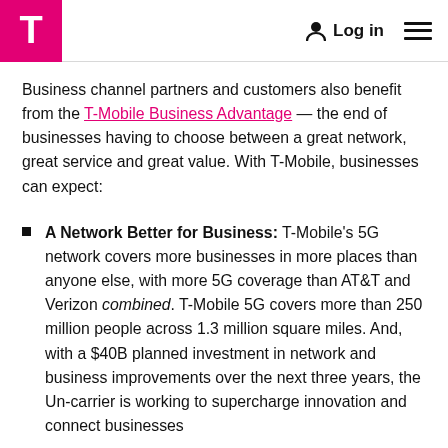T-Mobile | Log in
Business channel partners and customers also benefit from the T-Mobile Business Advantage — the end of businesses having to choose between a great network, great service and great value. With T-Mobile, businesses can expect:
A Network Better for Business: T-Mobile's 5G network covers more businesses in more places than anyone else, with more 5G coverage than AT&T and Verizon combined. T-Mobile 5G covers more than 250 million people across 1.3 million square miles. And, with a $40B planned investment in network and business improvements over the next three years, the Un-carrier is working to supercharge innovation and connect businesses